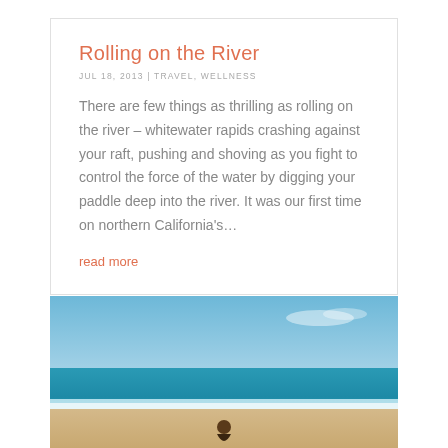Rolling on the River
JUL 18, 2013 | TRAVEL, WELLNESS
There are few things as thrilling as rolling on the river – whitewater rapids crashing against your raft, pushing and shoving as you fight to control the force of the water by digging your paddle deep into the river. It was our first time on northern California's…
read more
[Figure (photo): Beach scene showing blue sky, turquoise ocean with white waves, sandy shore, and a person standing at the water's edge viewed from behind.]